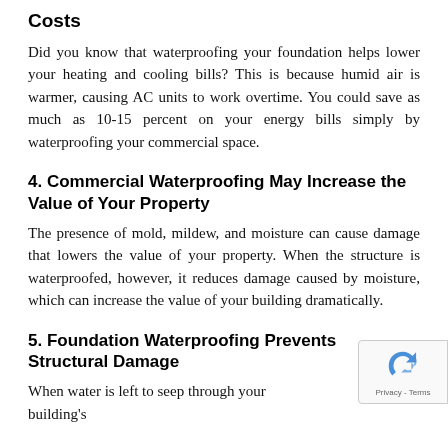Costs
Did you know that waterproofing your foundation helps lower your heating and cooling bills? This is because humid air is warmer, causing AC units to work overtime. You could save as much as 10-15 percent on your energy bills simply by waterproofing your commercial space.
4. Commercial Waterproofing May Increase the Value of Your Property
The presence of mold, mildew, and moisture can cause damage that lowers the value of your property. When the structure is waterproofed, however, it reduces damage caused by moisture, which can increase the value of your building dramatically.
5. Foundation Waterproofing Prevents Structural Damage
When water is left to seep through your building's